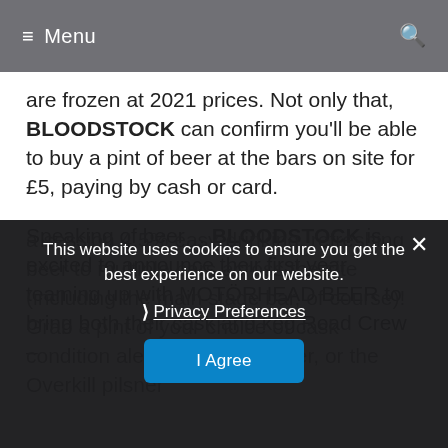≡ Menu
are frozen at 2021 prices. Not only that, BLOODSTOCK can confirm you'll be able to buy a pint of beer at the bars on site for £5, paying by cash or card.
Speaking of beer… BLOODSTOCK is excited to announce their first year teaming up with MOTÖRHEAD BEER to bring both their cask and keg Road Crew –
a session 4.5% easy-drinking, refreshing beer to multiple bars across the site (including the main stage bar, of course)! Grab a pint of your choice of cask condition ale, draught keg beer, or the Overkill pilsner
For those camping, you can even pre-
This website uses cookies to ensure you get the best experience on our website.
Privacy Preferences
I Agree